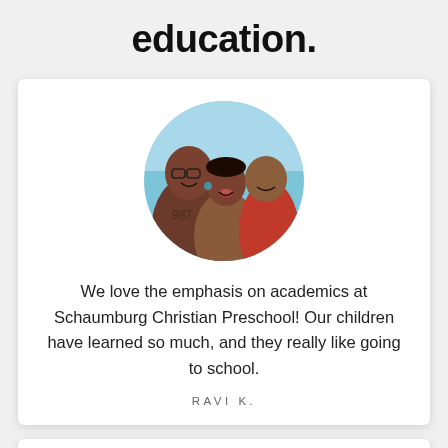education.
[Figure (photo): Circular cropped photo of a South Asian family of three: a man with glasses, a woman, and a young boy, smiling together outdoors near a pool]
We love the emphasis on academics at Schaumburg Christian Preschool! Our children have learned so much, and they really like going to school.
RAVI K.
[Figure (photo): Partial circular cropped photo visible at the bottom of the page, showing a green background, beginning of another testimonial card]